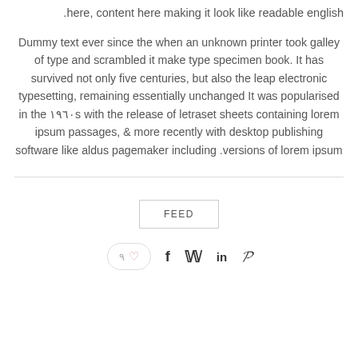.here, content here making it look like readable english
Dummy text ever since the when an unknown printer took galley of type and scrambled it make type specimen book. It has survived not only five centuries, but also the leap electronic typesetting, remaining essentially unchanged It was popularised in the ١٩٦٠s with the release of letraset sheets containing lorem ipsum passages, & more recently with desktop publishing software like aldus pagemaker including .versions of lorem ipsum
FEED
٩ ♡  f  𝕎  in  𝓟